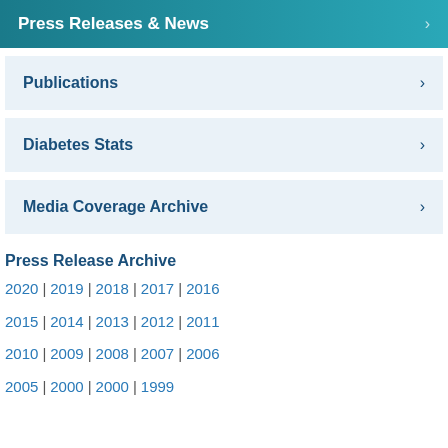Press Releases & News
Publications
Diabetes Stats
Media Coverage Archive
Press Release Archive
2020 | 2019 | 2018 | 2017 | 2016
2015 | 2014 | 2013 | 2012 | 2011
2010 | 2009 | 2008 | 2007 | 2006
2005 | 2000 | 2000 | 1999